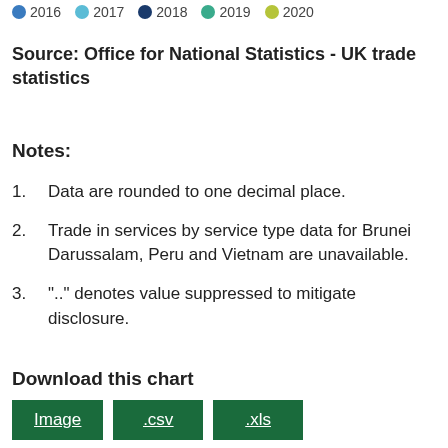[Figure (other): Legend bar showing colored dots for years 2016, 2017, 2018, 2019, 2020]
Source: Office for National Statistics - UK trade statistics
Notes:
Data are rounded to one decimal place.
Trade in services by service type data for Brunei Darussalam, Peru and Vietnam are unavailable.
".." denotes value suppressed to mitigate disclosure.
Download this chart
Image  .csv  .xls